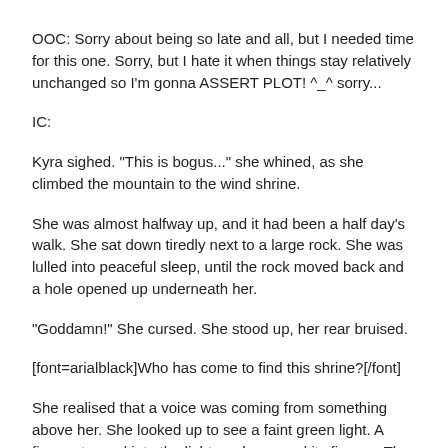OOC: Sorry about being so late and all, but I needed time for this one. Sorry, but I hate it when things stay relatively unchanged so I'm gonna ASSERT PLOT! ^_^ sorry...
IC:
Kyra sighed. "This is bogus..." she whined, as she climbed the mountain to the wind shrine.
She was almost halfway up, and it had been a half day's walk. She sat down tiredly next to a large rock. She was lulled into peaceful sleep, until the rock moved back and a hole opened up underneath her.
"Goddamn!" She cursed. She stood up, her rear bruised.
[font=arialblack]Who has come to find this shrine?[/font]
She realised that a voice was coming from something above her. She looked up to see a faint green light. A figure stepped into the light, and snapped its fingers. The light grew bright, and the